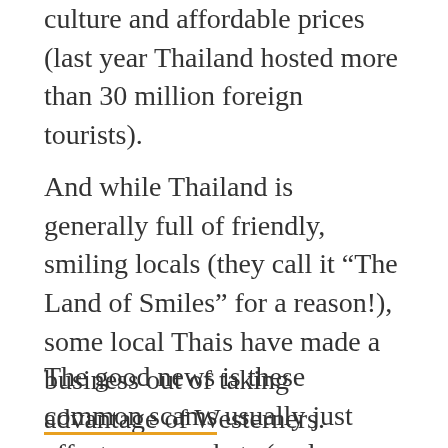culture and affordable prices (last year Thailand hosted more than 30 million foreign tourists).
And while Thailand is generally full of friendly, smiling locals (they call it “The Land of Smiles” for a reason!), some local Thais have made a business out of taking advantage of Westerners.
The good news is these common scams usually just affect your pockets (and your dignity). The bad news is, you might feel used, miffed, and, depending on how badly you got burned, out a serious chunk of change.